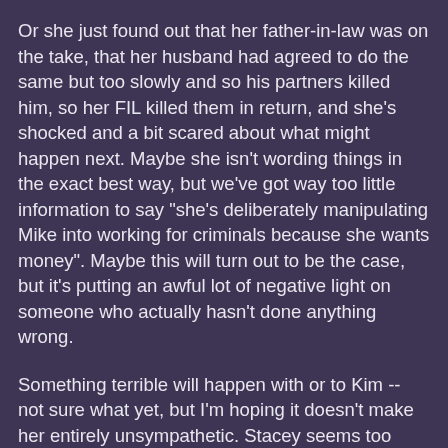Or she just found out that her father-in-law was on the take, that her husband had agreed to do the same but too slowly and so his partners killed him, so her FIL killed them in return, and she's shocked and a bit scared about what might happen next. Maybe she isn't wording things in the exact best way, but we've got way too little information to say "she's deliberately manipulating Mike into working for criminals because she wants money". Maybe this will turn out to be the case, but it's putting an awful lot of negative light on someone who actually hasn't done anything wrong.
Something terrible will happen with or to Kim -- not sure what yet, but I'm hoping it doesn't make her entirely unsympathetic. Stacey seems too tangential to be that important in the future, and we just don't have any female characters (again) to fill out other roles.
posted by jeather at 11:05 AM on March 26, 2015 [4 favorites]